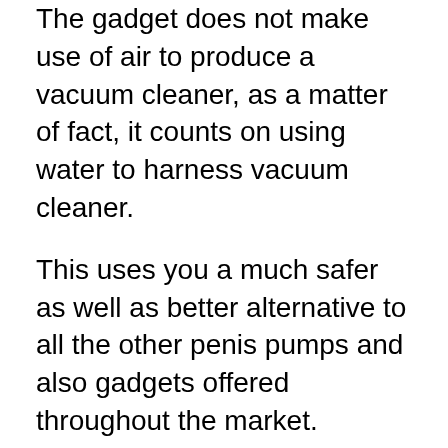The gadget does not make use of air to produce a vacuum cleaner, as a matter of fact, it counts on using water to harness vacuum cleaner.
This uses you a much safer as well as better alternative to all the other penis pumps and also gadgets offered throughout the market.
By utilizing HydroXtreme 9 frequently, you might improve the length, size, as well as the stamina of your penis.
A healthy penis would certainly further bring about longer and much better erections. Although the makers have stated that HydroXtreme 9 is has actually been made for simple and day-to-day usage, there are